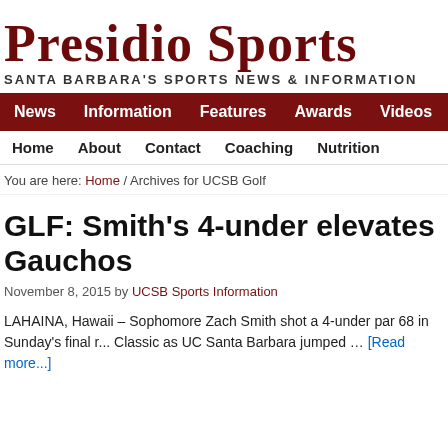Presidio Sports
SANTA BARBARA'S SPORTS NEWS & INFORMATION
News  Information  Features  Awards  Videos
Home  About  Contact  Coaching  Nutrition
You are here: Home / Archives for UCSB Golf
GLF: Smith's 4-under elevates Gauchos
November 8, 2015 by UCSB Sports Information
LAHAINA, Hawaii – Sophomore Zach Smith shot a 4-under par 68 in Sunday's final r... Classic as UC Santa Barbara jumped … [Read more...]